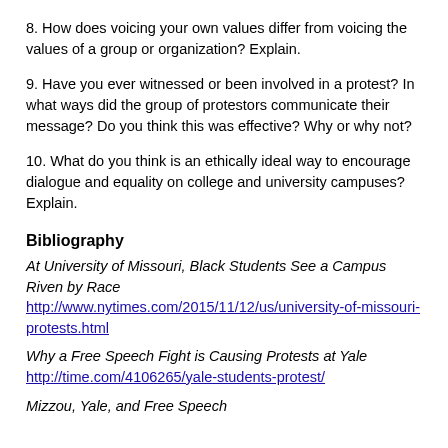8. How does voicing your own values differ from voicing the values of a group or organization? Explain.
9. Have you ever witnessed or been involved in a protest? In what ways did the group of protestors communicate their message? Do you think this was effective? Why or why not?
10. What do you think is an ethically ideal way to encourage dialogue and equality on college and university campuses? Explain.
Bibliography
At University of Missouri, Black Students See a Campus Riven by Race
http://www.nytimes.com/2015/11/12/us/university-of-missouri-protests.html
Why a Free Speech Fight is Causing Protests at Yale
http://time.com/4106265/yale-students-protest/
Mizzou, Yale, and Free Speech